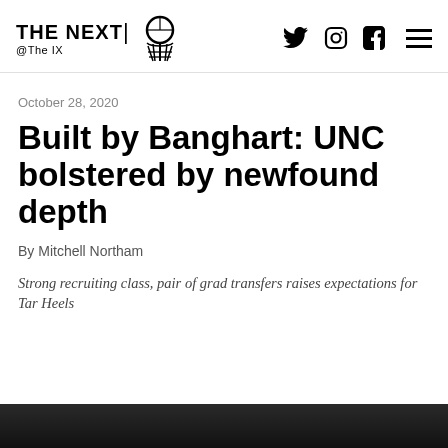THE NEXT @ The IX
October 28, 2020
Built by Banghart: UNC bolstered by newfound depth
By Mitchell Northam
Strong recruiting class, pair of grad transfers raises expectations for Tar Heels
[Figure (photo): Bottom photo strip, dark image partially visible]